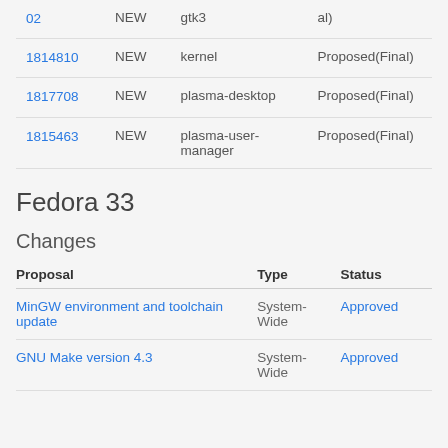| ID | Status | Package | Proposed |
| --- | --- | --- | --- |
| 02 | NEW | gtk3 | al) |
| 1814810 | NEW | kernel | Proposed(Final) |
| 1817708 | NEW | plasma-desktop | Proposed(Final) |
| 1815463 | NEW | plasma-user-manager | Proposed(Final) |
Fedora 33
Changes
| Proposal | Type | Status |
| --- | --- | --- |
| MinGW environment and toolchain update | System-Wide | Approved |
| GNU Make version 4.3 | System-Wide | Approved |